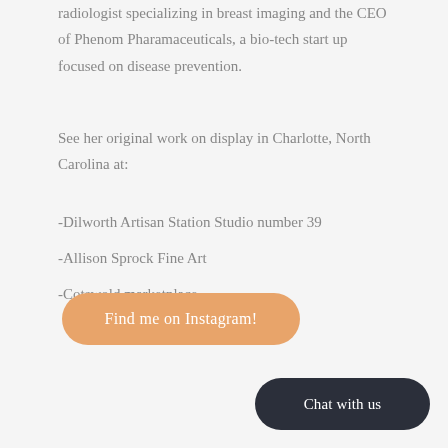radiologist specializing in breast imaging and the CEO of Phenom Pharamaceuticals, a bio-tech start up focused on disease prevention.
See her original work on display in Charlotte, North Carolina at:
-Dilworth Artisan Station Studio number 39
-Allison Sprock Fine Art
-Cotswold marketplace
[Figure (other): Orange rounded button with white text: Find me on Instagram!]
[Figure (other): Dark navy rounded button with white text: Chat with us]